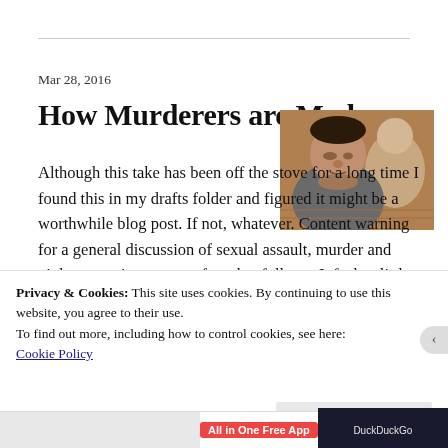Mar 28, 2016
How Murderers are Made
[Figure (photo): A man sitting in what appears to be a courtroom, viewed from a slight angle, wearing casual clothing.]
Although this take has been off the stove for a long time I found this in my drafts folder and figured it might be a worthwhile blog post. If not, whatever. Content warning for a general discussion of sexual assault, murder and violence against women for what follows. It feels a little
Privacy & Cookies: This site uses cookies. By continuing to use this website, you agree to their use.
To find out more, including how to control cookies, see here: Cookie Policy
Close and accept